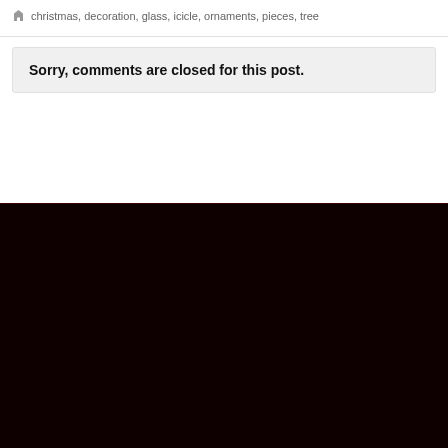christmas, decoration, glass, icicle, ornaments, pieces, tree
Sorry, comments are closed for this post.
[Figure (other): Dark maroon/black footer background area]